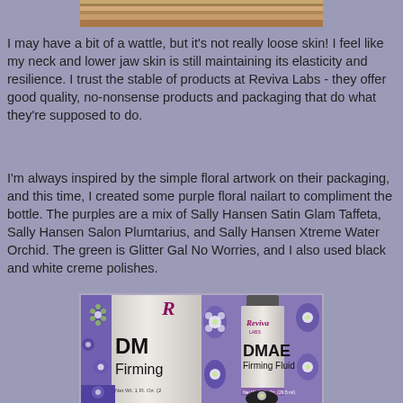[Figure (photo): Top cropped photo showing wood grain or skin texture in tan/brown tones]
I may have a bit of a wattle, but it's not really loose skin! I feel like my neck and lower jaw skin is still maintaining its elasticity and resilience.  I trust the stable of products at Reviva Labs - they offer good quality, no-nonsense products and packaging that do what they're supposed to do.
I'm always inspired by the simple floral artwork on their packaging, and this time, I created some purple floral nailart to compliment the bottle. The purples are a mix of Sally Hansen Satin Glam Taffeta, Sally Hansen Salon Plumtarius, and Sally Hansen Xtreme Water Orchid.  The green is Glitter Gal  No Worries, and I also used black and white creme polishes.
[Figure (photo): Two-panel photo showing DMAE Firming Fluid bottle by Reviva Labs alongside purple floral nail art on fingers]